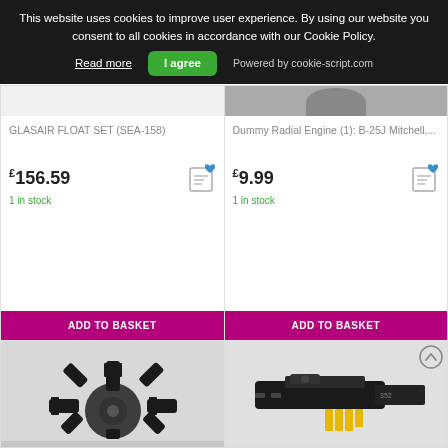This website uses cookies to improve user experience. By using our website you consent to all cookies in accordance with our Cookie Policy. Read more  I agree  Powered by cookie-script.com
GLASAIR FLOAT SET (SEA-158)
£156.59
1 in stock
ADD TO BASKET
Dummy Radial Engine (1): B-25J Mitchell,...
£9.99
1 in stock
ADD TO BASKET
[Figure (photo): Bottom left product photo: black radial engine model parts on gray background]
[Figure (photo): Bottom right product photo: black model gun/weapon part with yellow detail on gray background]